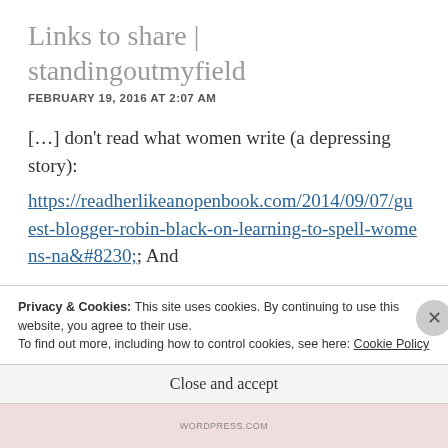Links to share | standingoutmyfield
FEBRUARY 19, 2016 AT 2:07 AM
[…] don't read what women write (a depressing story): https://readherlikeanopenbook.com/2014/09/07/guest-blogger-robin-black-on-learning-to-spell-womens-na&#8230;; And
Privacy & Cookies: This site uses cookies. By continuing to use this website, you agree to their use.
To find out more, including how to control cookies, see here: Cookie Policy
Close and accept